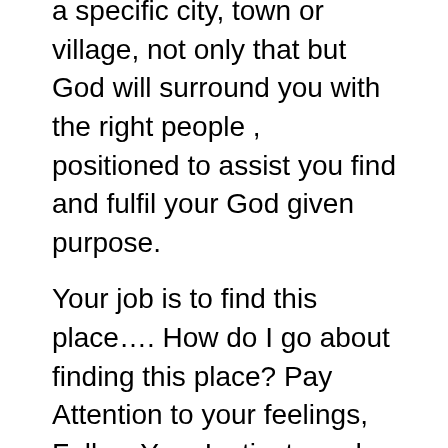a specific city, town or village, not only that but God will surround you with the right people , positioned to assist you find and fulfil your God given purpose.
Your job is to find this place…. How do I go about finding this place? Pay Attention to your feelings, Follow Your Instincts and Look for the Life that fulfills you. It so important to listen to those inner thoughts as they serve to guide you in your search.
In our search for that place of blessing, God will lead us to places that make absolutely no sense to us at all. Take this time in waiting to learn patience. As long as you are in this place of